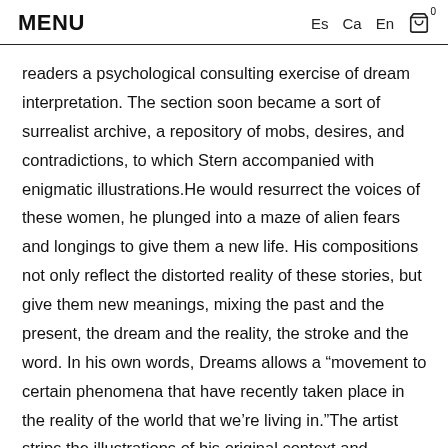MENU   Es   Ca   En   0
readers a psychological consulting exercise of dream interpretation. The section soon became a sort of surrealist archive, a repository of mobs, desires, and contradictions, to which Stern accompanied with enigmatic illustrations.He would resurrect the voices of these women, he plunged into a maze of alien fears and longings to give them a new life. His compositions not only reflect the distorted reality of these stories, but give them new meanings, mixing the past and the present, the dream and the reality, the stroke and the word. In his own words, Dreams allows a “movement to certain phenomena that have recently taken place in the reality of the world that we’re living in.”The artist strips the illustrations of his original context and reproduces them